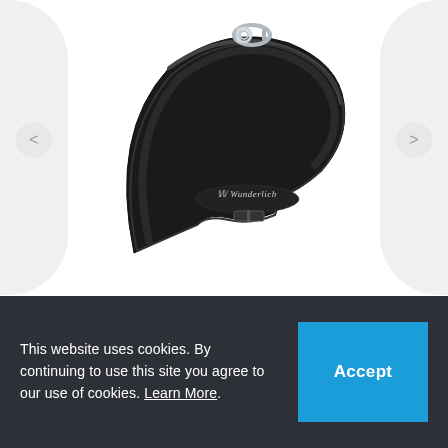[Figure (photo): Wunderlich Helmet Carry Strap product photo — a black leather strap with silver carabiner clip and Wunderlich logo embossed on the leather, shown on a white background with curved gray side panels and left/right navigation arrows]
Wunderlich Helmet Carry Strap
$31.95
This website uses cookies. By continuing to use this site you agree to our use of cookies. Learn More.
Accept